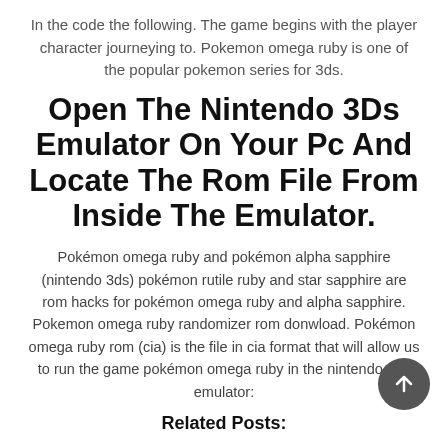In the code the following. The game begins with the player character journeying to. Pokemon omega ruby is one of the popular pokemon series for 3ds.
Open The Nintendo 3Ds Emulator On Your Pc And Locate The Rom File From Inside The Emulator.
Pokémon omega ruby and pokémon alpha sapphire (nintendo 3ds) pokémon rutile ruby and star sapphire are rom hacks for pokémon omega ruby and alpha sapphire. Pokemon omega ruby randomizer rom donwload. Pokémon omega ruby rom (cia) is the file in cia format that will allow us to run the game pokémon omega ruby in the nintendo 3ds emulator:
Related Posts: